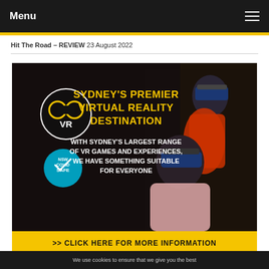Menu
Hit The Road – REVIEW 23 August 2022
[Figure (photo): Advertisement banner for Sydney's Premier Virtual Reality Destination (VR arcade). Dark background with people wearing VR headsets. Text reads: SYDNEY'S PREMIER VIRTUAL REALITY DESTINATION, WITH SYDNEY'S LARGEST RANGE OF VR GAMES AND EXPERIENCES, WE HAVE SOMETHING SUITABLE FOR EVERYONE. Yellow bar at bottom: >> CLICK HERE FOR MORE INFORMATION. COVID Safe badge visible.]
[Figure (photo): Partial second advertisement image with orange/warm colors, partially visible at bottom of page.]
We use cookies to ensure that we give you the best